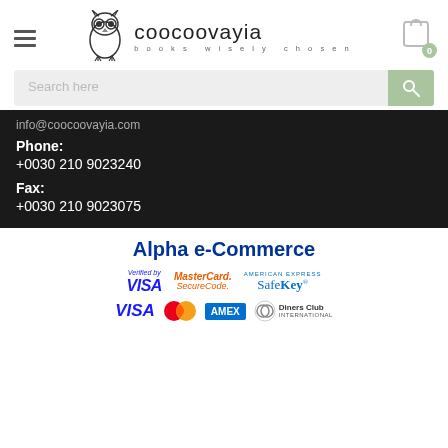[Figure (logo): Coocoovayia logo with owl icon and tagline 'books wisely chosen']
Search here
info@coocoovayia.com
Phone:
+0030 210 9023240
Fax:
+0030 210 9023075
Alpha e-Commerce
[Figure (logo): Payment logos: Verified by VISA, MasterCard SecureCode, American Express SafeKey, VISA, Mastercard, American Express, Diners Club International]